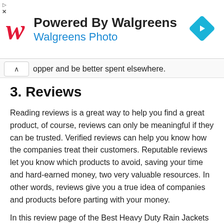[Figure (other): Walgreens advertisement banner with red cursive W logo, 'Powered By Walgreens' heading, 'Walgreens Photo' subtitle in blue, and a blue diamond-shaped navigation arrow icon on the right]
opper and be better spent elsewhere.
3. Reviews
Reading reviews is a great way to help you find a great product, of course, reviews can only be meaningful if they can be trusted. Verified reviews can help you know how the companies treat their customers. Reputable reviews let you know which products to avoid, saving your time and hard-earned money, two very valuable resources. In other words, reviews give you a true idea of companies and products before parting with your money.
In this review page of the Best Heavy Duty Rain Jackets 2021, we analyzed 17,400 reviews of